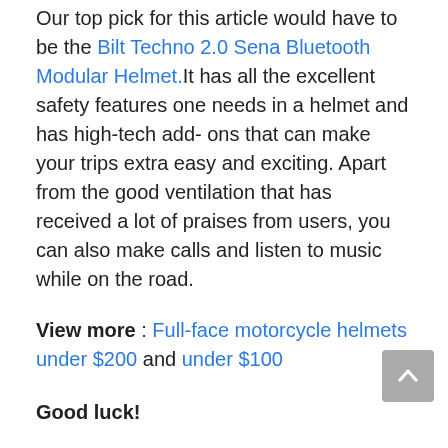Our top pick for this article would have to be the Bilt Techno 2.0 Sena Bluetooth Modular Helmet.It has all the excellent safety features one needs in a helmet and has high-tech add-ons that can make your trips extra easy and exciting. Apart from the good ventilation that has received a lot of praises from users, you can also make calls and listen to music while on the road.
View more : Full-face motorcycle helmets under $200 and under $100
Good luck!
These helmets each have their own strengths and weaknesses, so remember to evaluate...